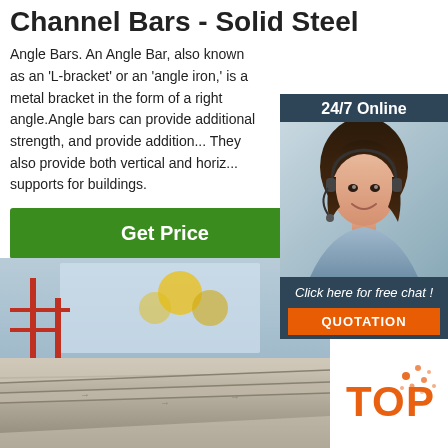Channel Bars - Solid Steel
Angle Bars. An Angle Bar, also known as an 'L-bracket' or an 'angle iron,' is a metal bracket in the form of a right angle.Angle bars can provide additional strength, and provide addition... They also provide both vertical and horiz... supports for buildings.
[Figure (photo): Smiling female customer service agent wearing headset against chat support sidebar overlay with '24/7 Online' header, 'Click here for free chat!' text, and orange QUOTATION button]
Get Price
[Figure (photo): Warehouse interior showing large flat steel plates/sheets on the floor with industrial scaffolding and equipment in the background]
[Figure (logo): Orange TOP logo with decorative dots]